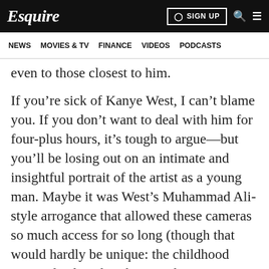Esquire | SIGN UP
NEWS   MOVIES & TV   FINANCE   VIDEOS   PODCASTS
even to those closest to him.
If you’re sick of Kanye West, I can’t blame you. If you don’t want to deal with him for four-plus hours, it’s tough to argue—but you’ll be losing out on an intimate and insightful portrait of the artist as a young man. Maybe it was West’s Muhammad Ali-style arrogance that allowed these cameras so much access for so long (though that would hardly be unique: the childhood scraps displayed in the David Bowie Is museum exhibit also revealed someone who knew he was destined for some kind of greatness from an early age). Regardless, we